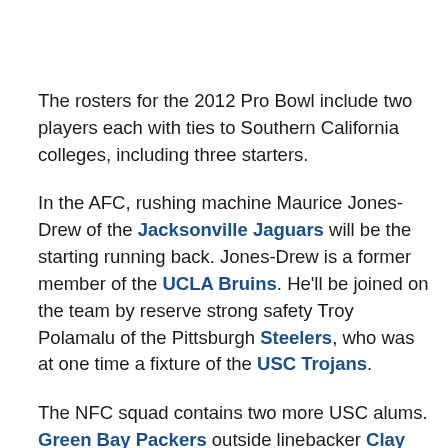The rosters for the 2012 Pro Bowl include two players each with ties to Southern California colleges, including three starters.
In the AFC, rushing machine Maurice Jones-Drew of the Jacksonville Jaguars will be the starting running back. Jones-Drew is a former member of the UCLA Bruins. He'll be joined on the team by reserve strong safety Troy Polamalu of the Pittsburgh Steelers, who was at one time a fixture of the USC Trojans.
The NFC squad contains two more USC alums. Green Bay Packers outside linebacker Clay Matthews and Carolina Panthers starter Deon Kelley and th...